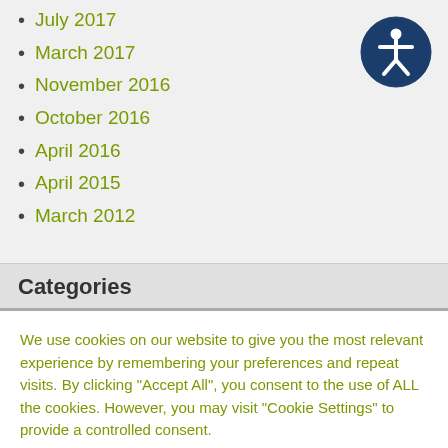July 2017
March 2017
November 2016
October 2016
April 2016
April 2015
March 2012
[Figure (illustration): Accessibility icon: white figure with arms and legs outstretched inside a dark blue circle]
Categories
We use cookies on our website to give you the most relevant experience by remembering your preferences and repeat visits. By clicking “Accept All”, you consent to the use of ALL the cookies. However, you may visit "Cookie Settings" to provide a controlled consent.